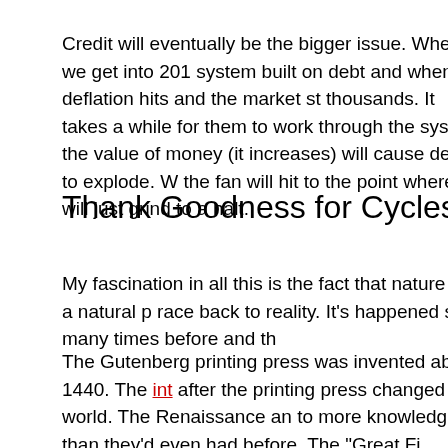Credit will eventually be the bigger issue. When we get into 201... system built on debt and when deflation hits and the market st... thousands. It takes a while for them to work through the syste... the value of money (it increases) will cause debt to explode. Wa... the fan will hit to the point where it will just grind to a halt.
Thank Goodness for Cycles
My fascination in all this is the fact that nature has a natural pr... race back to reality. It's happened so many times before and th...
The Gutenberg printing press was invented about 1440. The int... after the printing press changed the world. The Renaissance an... to more knowledge than they'd even had before. The "Great Fi... personal" starting in the next few months. The truth is going to... portrayed as a conspiracy theory in Wikipedia)
We already know that we humans are affected by exogenous f... moon regulates our biological clock, which is based on a 25 h...